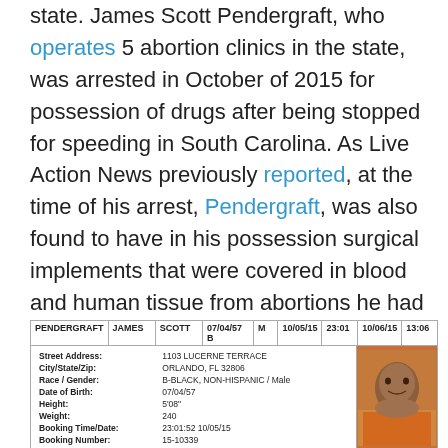state. James Scott Pendergraft, who operates 5 abortion clinics in the state, was arrested in October of 2015 for possession of drugs after being stopped for speeding in South Carolina. As Live Action News previously reported, at the time of his arrest, Pendergraft, was also found to have in his possession surgical implements that were covered in blood and human tissue from abortions he had illegally performed throughout South Carolina. Despite having his medical license revoked at the time, Pendergraft was only charged with being in the possession of illegal narcotics.
| PENDERGRAFT | JAMES | SCOTT | 07/04/57 B | M | 10/05/15 | 23:01 | 10/06/15 | 13:06 |
| --- | --- | --- | --- | --- | --- | --- | --- | --- |
| Street Address: | 1103 LUCERNE TERRACE |  |  |  |  |  |  |  |
| City/State/Zip: | ORLANDO, FL 32806 |  |  |  |  |  |  |  |
| Race / Gender: | B-BLACK, NON-HISPANIC / Male |  |  |  |  |  |  |  |
| Date of Birth: | 07/04/57 |  |  |  |  |  |  |  |
| Height: | 5'08" |  |  |  |  |  |  |  |
| Weight: | 240 |  |  |  |  |  |  |  |
| Booking Time/Date: | 23:01:52 10/05/15 |  |  |  |  |  |  |  |
| Booking Number: | 15-10339 |  |  |  |  |  |  |  |
| Arrest Agency: | SHERIFF'S OFFICE |  |  |  |  |  |  |  |
| Arrest Officer: | Fraley B |  |  |  |  |  |  |  |
| Statute | Offense | Court | Warrant | Bond |  |  |  |  |